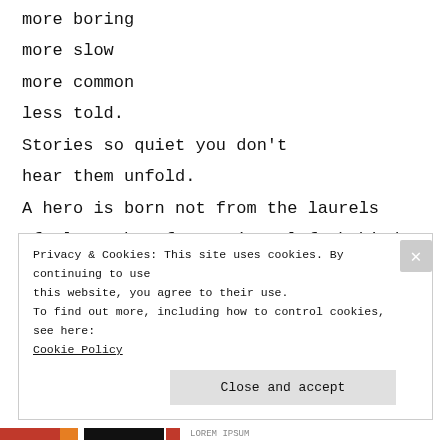more boring
more slow
more common
less told.
Stories so quiet you don't
hear them unfold.
A hero is born not from the laurels
of glory, but from prints left behind
by old boots and slippers.
A hero walks mutely through
Privacy & Cookies: This site uses cookies. By continuing to use this website, you agree to their use.
To find out more, including how to control cookies, see here:
Cookie Policy
Close and accept